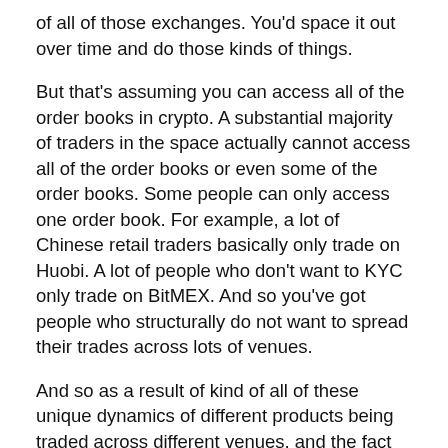of all of those exchanges. You'd space it out over time and do those kinds of things.
But that's assuming you can access all of the order books in crypto. A substantial majority of traders in the space actually cannot access all of the order books or even some of the order books. Some people can only access one order book. For example, a lot of Chinese retail traders basically only trade on Huobi. A lot of people who don't want to KYC only trade on BitMEX. And so you've got people who structurally do not want to spread their trades across lots of venues.
And so as a result of kind of all of these unique dynamics of different products being traded across different venues, and the fact that people are not, you know, doing “best execution” and kind of taking liquidity across all different venues, you end up with pretty meaningful price deviations between those venues.